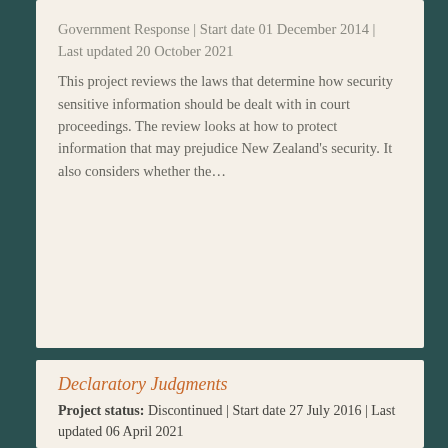Government Response | Start date 01 December 2014 | Last updated 20 October 2021
This project reviews the laws that determine how security sensitive information should be dealt with in court proceedings. The review looks at how to protect information that may prejudice New Zealand's security. It also considers whether the...
Declaratory Judgments
Project status: Discontinued | Start date 27 July 2016 | Last updated 06 April 2021
The declaratory judgment is an important judicial remedy.  It